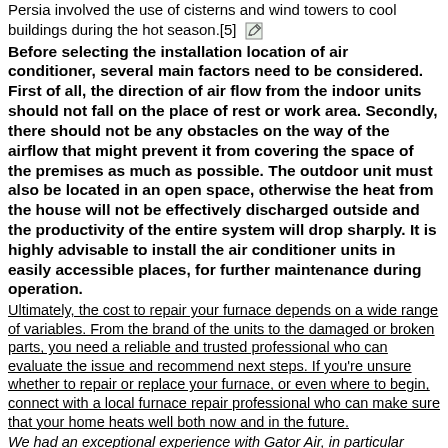Persia involved the use of cisterns and wind towers to cool buildings during the hot season.[5]
Before selecting the installation location of air conditioner, several main factors need to be considered. First of all, the direction of air flow from the indoor units should not fall on the place of rest or work area. Secondly, there should not be any obstacles on the way of the airflow that might prevent it from covering the space of the premises as much as possible. The outdoor unit must also be located in an open space, otherwise the heat from the house will not be effectively discharged outside and the productivity of the entire system will drop sharply. It is highly advisable to install the air conditioner units in easily accessible places, for further maintenance during operation.
Ultimately, the cost to repair your furnace depends on a wide range of variables. From the brand of the units to the damaged or broken parts, you need a reliable and trusted professional who can evaluate the issue and recommend next steps. If you're unsure whether to repair or replace your furnace, or even where to begin, connect with a local furnace repair professional who can make sure that your home heats well both now and in the future.
We had an exceptional experience with Gator Air, in particular Carlos. He presented us with quotes for different types of AC units, talked us through the pricing, and left us to make a decision...